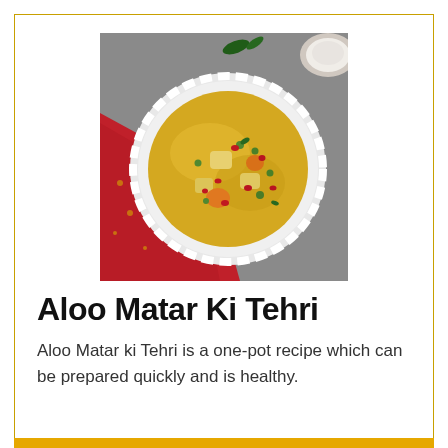[Figure (photo): Overhead view of Aloo Matar Ki Tehri — yellow spiced rice with peas, potatoes, carrots, and pomegranate seeds in a white scalloped plate, on a grey surface with a red cloth backdrop]
Aloo Matar Ki Tehri
Aloo Matar ki Tehri is a one-pot recipe which can be prepared quickly and is healthy.